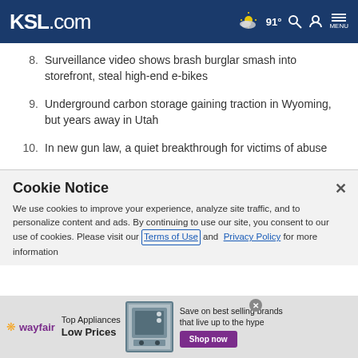KSL.com — 91° weather, search, account, menu
8. Surveillance video shows brash burglar smash into storefront, steal high-end e-bikes
9. Underground carbon storage gaining traction in Wyoming, but years away in Utah
10. In new gun law, a quiet breakthrough for victims of abuse
Cookie Notice
We use cookies to improve your experience, analyze site traffic, and to personalize content and ads. By continuing to use our site, you consent to our use of cookies. Please visit our Terms of Use and Privacy Policy for more information
[Figure (screenshot): Wayfair advertisement banner: Top Appliances Low Prices with appliance image and Shop now button]